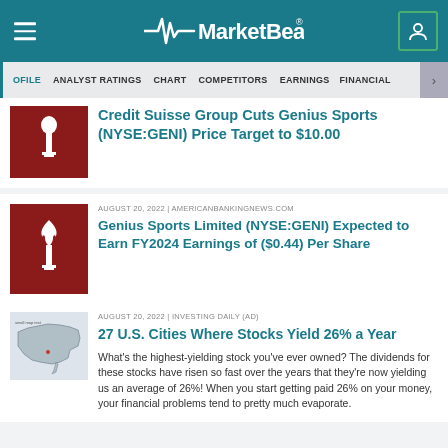MarketBeat
PROFILE  ANALYST RATINGS  CHART  COMPETITORS  EARNINGS  FINANCIAL
Credit Suisse Group Cuts Genius Sports (NYSE:GENI) Price Target to $10.00
AUGUST 20, 2022 | AMERICANBANKINGNEWS.COM
Genius Sports Limited (NYSE:GENI) Expected to Earn FY2024 Earnings of ($0.44) Per Share
AUGUST 20, 2022 | INVESTING DAILY (AD)
27 U.S. Cities Where Stocks Yield 26% a Year
What's the highest-yielding stock you've ever owned? The dividends for these stocks have risen so fast over the years that they're now yielding us an average of 26%! When you start getting paid 26% on your money, your financial problems tend to pretty much evaporate.